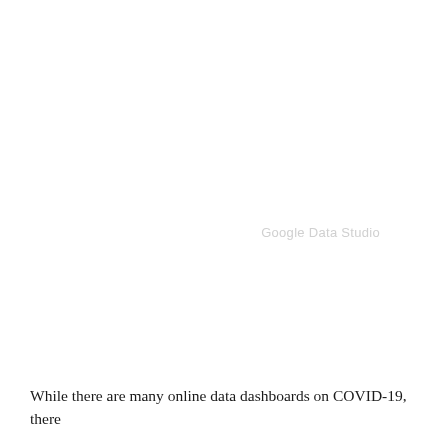[Figure (screenshot): Google Data Studio watermark/logo text in light gray, positioned in the lower right area of a mostly white page]
While there are many online data dashboards on COVID-19, there